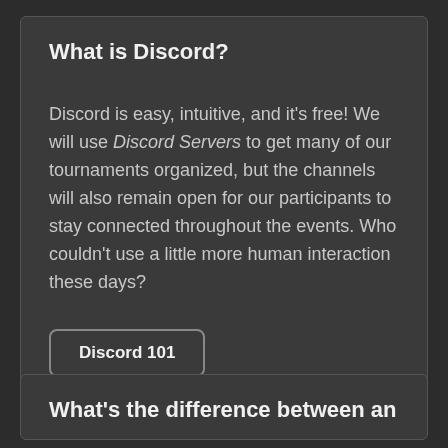What is Discord?
Discord is easy, intuitive, and it's free! We will use Discord Servers to get many of our tournaments organized, but the channels will also remain open for our participants to stay connected throughout the events. Who couldn't use a little more human interaction these days?
Discord 101
What's the difference between an